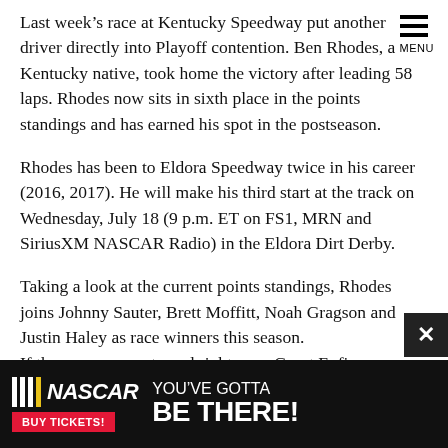MENU
Last week’s race at Kentucky Speedway put another driver directly into Playoff contention. Ben Rhodes, a Kentucky native, took home the victory after leading 58 laps. Rhodes now sits in sixth place in the points standings and has earned his spot in the postseason.
Rhodes has been to Eldora Speedway twice in his career (2016, 2017). He will make his third start at the track on Wednesday, July 18 (9 p.m. ET on FS1, MRN and SiriusXM NASCAR Radio) in the Eldora Dirt Derby.
Taking a look at the current points standings, Rhodes joins Johnny Sauter, Brett Moffitt, Noah Gragson and Justin Haley as race winners this season.
If the season were to end right now, Grant Enfinger, Stewart Friesen, Matt Crafton, Myatt Snider, Cody Coughlin, Dalton Sargeant and Austin Hill are the remaining drivers who would be in the Playoffs based on points. Sargeant and Snider are both...
[Figure (infographic): NASCAR advertisement banner: NASCAR logo with checkered flag stripes, BUY TICKETS button in red, text reading YOU'VE GOTTA BE THERE! in white on black background]